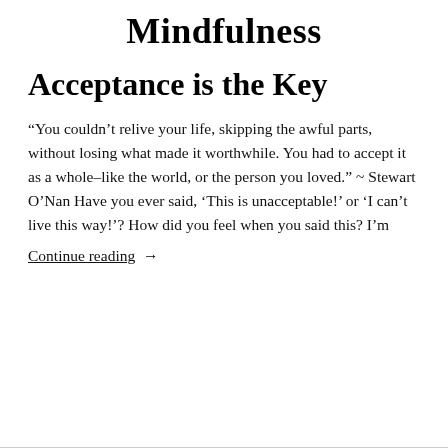Mindfulness
Acceptance is the Key
“You couldn’t relive your life, skipping the awful parts, without losing what made it worthwhile. You had to accept it as a whole–like the world, or the person you loved.” ~ Stewart O’Nan Have you ever said, ‘This is unacceptable!’ or ‘I can’t live this way!’? How did you feel when you said this? I’m
Continue reading →